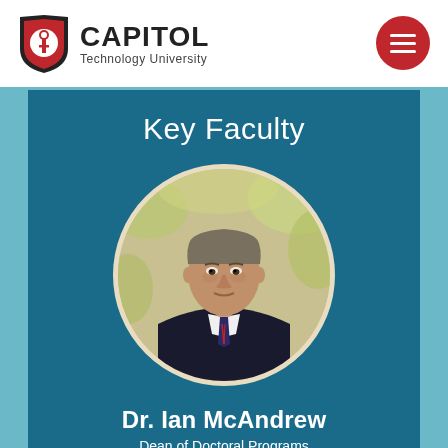[Figure (logo): Capitol Technology University shield logo with torch/key symbol in red and black, with text CAPITOL Technology University]
CAPITOL Technology University
Key Faculty
[Figure (photo): Circular cropped headshot photo of Dr. Ian McAndrew, a middle-aged man with gray-brown hair wearing a dark suit and striped tie, photographed outdoors]
Dr. Ian McAndrew
Dean of Doctoral Programs